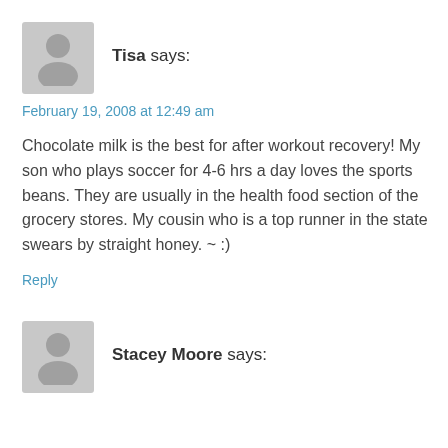Tisa says:
February 19, 2008 at 12:49 am
Chocolate milk is the best for after workout recovery! My son who plays soccer for 4-6 hrs a day loves the sports beans. They are usually in the health food section of the grocery stores. My cousin who is a top runner in the state swears by straight honey. ~ :)
Reply
Stacey Moore says: